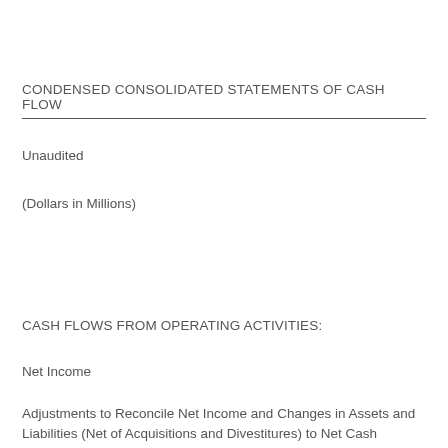CONDENSED CONSOLIDATED STATEMENTS OF CASH FLOW
Unaudited
(Dollars in Millions)
CASH FLOWS FROM OPERATING ACTIVITIES:
Net Income
Adjustments to Reconcile Net Income and Changes in Assets and Liabilities (Net of Acquisitions and Divestitures) to Net Cash Provided by Operating Activities: